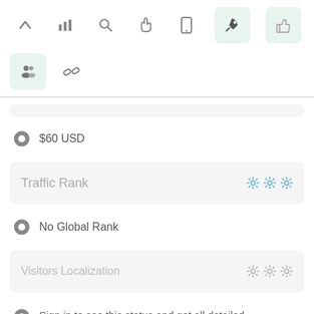[Figure (screenshot): Top toolbar with icons: up arrow, bar chart, search, hand/cursor, mobile, rocket (highlighted green), thumbs up (highlighted green)]
[Figure (screenshot): Second toolbar row with people/group icon (highlighted green) and chain link icon]
$60 USD
Traffic Rank
No Global Rank
Visitors Localization
Sign in to see this status and get all detailed informations!